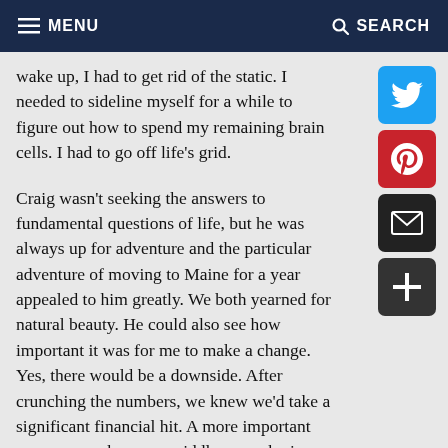MENU   SEARCH
wake up, I had to get rid of the static. I needed to sideline myself for a while to figure out how to spend my remaining brain cells. I had to go off life’s grid.

Craig wasn’t seeking the answers to fundamental questions of life, but he was always up for adventure and the particular adventure of moving to Maine for a year appealed to him greatly. We both yearned for natural beauty. He could also see how important it was for me to make a change. Yes, there would be a downside. After crunching the numbers, we knew we’d take a significant financial hit. A more important concern was how our middle son, who is on the autism spectrum, might do with a year of very limited opportunities to practice his social skills. His support team (therapist, social worker, and